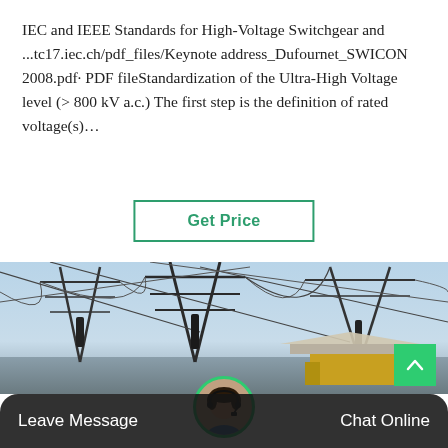IEC and IEEE Standards for High-Voltage Switchgear and ...tc17.iec.ch/pdf_files/Keynote address_Dufournet_SWICON 2008.pdf· PDF fileStandardization of the Ultra-High Voltage level (> 800 kV a.c.) The first step is the definition of rated voltage(s)…
[Figure (other): Get Price button with green border]
[Figure (photo): Photograph of a high-voltage electrical substation with transmission towers, cables and equipment visible against a blue sky]
Leave Message   Chat Online